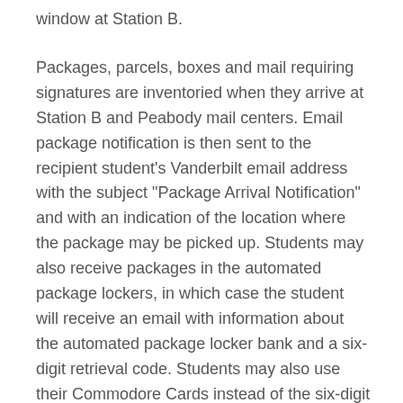window at Station B.
Packages, parcels, boxes and mail requiring signatures are inventoried when they arrive at Station B and Peabody mail centers. Email package notification is then sent to the recipient student's Vanderbilt email address with the subject "Package Arrival Notification" and with an indication of the location where the package may be picked up. Students may also receive packages in the automated package lockers, in which case the student will receive an email with information about the automated package locker bank and a six-digit retrieval code. Students may also use their Commodore Cards instead of the six-digit code to open the automated package lockers. Students have 24-hour access to the automated package lockers, and packages for the automated package lockers are selected on a first come, first served basis according to size. Mail service does not take requests to place packages into the automated package lockers.